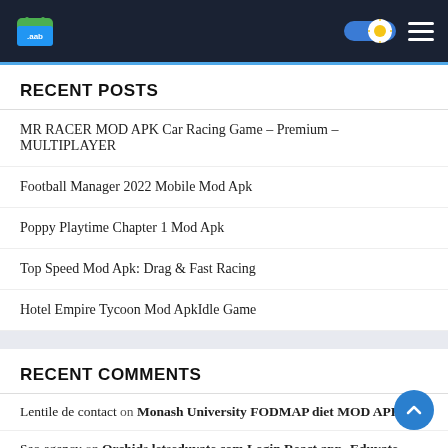.aab app header with logo, theme toggle, and hamburger menu
RECENT POSTS
MR RACER MOD APK Car Racing Game – Premium – MULTIPLAYER
Football Manager 2022 Mobile Mod Apk
Poppy Playtime Chapter 1 Mod Apk
Top Speed Mod Apk: Drag & Fast Racing
Hotel Empire Tycoon Mod Apk‎Idle Game
RECENT COMMENTS
Lentile de contact on Monash University FODMAP diet MOD APK
Seo agency on Orchids.letseduvate.com Login React app- Eduvate Parent Portal